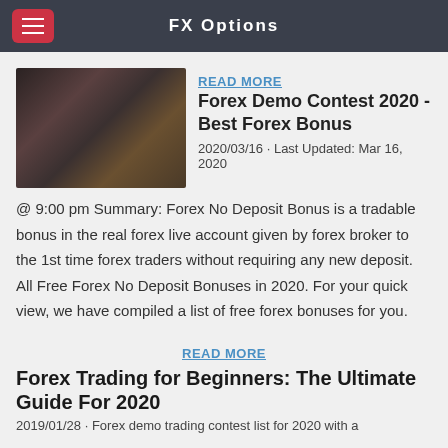FX Options
READ MORE
[Figure (photo): Person sitting at trading desk with multiple monitors showing charts, coffee cup and keyboard visible]
Forex Demo Contest 2020 - Best Forex Bonus
2020/03/16 · Last Updated: Mar 16, 2020
@ 9:00 pm Summary: Forex No Deposit Bonus is a tradable bonus in the real forex live account given by forex broker to the 1st time forex traders without requiring any new deposit. All Free Forex No Deposit Bonuses in 2020. For your quick view, we have compiled a list of free forex bonuses for you.
READ MORE
Forex Trading for Beginners: The Ultimate Guide For 2020
2019/01/28 · Forex demo trading contest list for 2020 with a